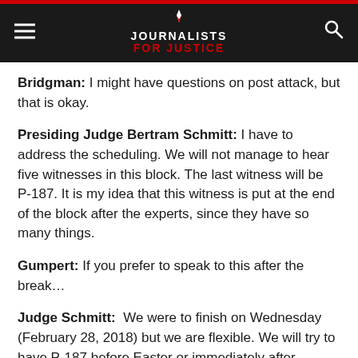Journalists for Justice
Bridgman: I might have questions on post attack, but that is okay.
Presiding Judge Bertram Schmitt: I have to address the scheduling. We will not manage to hear five witnesses in this block. The last witness will be P-187. It is my idea that this witness is put at the end of the block after the experts, since they have so many things.
Gumpert: If you prefer to speak to this after the break…
Judge Schmitt:  We were to finish on Wednesday (February 28, 2018) but we are flexible. We will try to have P-187 before Easter or immediately after Easter. We will finish [with] the two upcoming witnesses. I am looking on the left here, and I believe Mr Ohl, if in a session...